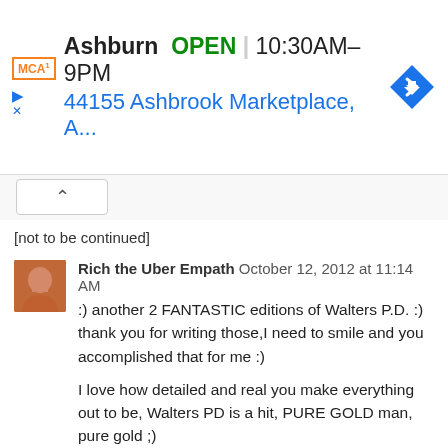[Figure (screenshot): McDonald's ad banner showing Ashburn location, OPEN 10:30AM-9PM, address 44155 Ashbrook Marketplace, A..., with MCD logo and navigation arrow icon]
[not to be continued]
Rich the Uber Empath  October 12, 2012 at 11:14 AM
:) another 2 FANTASTIC editions of Walters P.D. :) thank you for writing those,I need to smile and you accomplished that for me :)

I love how detailed and real you make everything out to be, Walters PD is a hit, PURE GOLD man, pure gold ;)

Thank you for your fine work :)